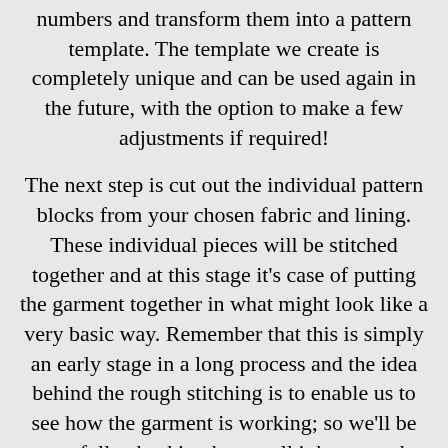numbers and transform them into a pattern template. The template we create is completely unique and can be used again in the future, with the option to make a few adjustments if required!
The next step is cut out the individual pattern blocks from your chosen fabric and lining. These individual pieces will be stitched together and at this stage it’s case of putting the garment together in what might look like a very basic way. Remember that this is simply an early stage in a long process and the idea behind the rough stitching is to enable us to see how the garment is working; so we’ll be carefully checking how well it hangs and moves.
Once any minor adjustments have made and